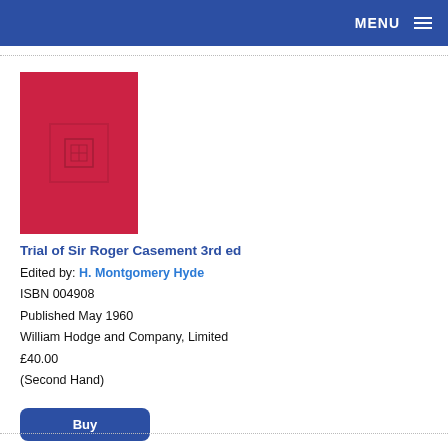MENU
[Figure (photo): Red cloth hardcover book with a small embossed rectangular logo in the center]
Trial of Sir Roger Casement 3rd ed
Edited by: H. Montgomery Hyde
ISBN 004908
Published May 1960
William Hodge and Company, Limited
£40.00
(Second Hand)
Buy